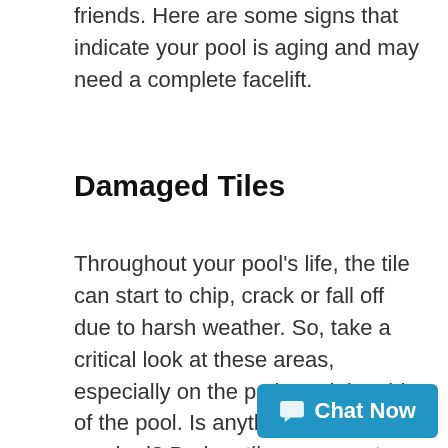friends. Here are some signs that indicate your pool is aging and may need a complete facelift.
Damaged Tiles
Throughout your pool’s life, the tile can start to chip, crack or fall off due to harsh weather. So, take a critical look at these areas, especially on the patio and the side of the pool. Is anything chipped or cracked? Broken tiles can create debris in the pool that can be harmful to those swimming. It can also lead to trip and fall injuries or cuts and scrapes. Also, is the tile slippery when swimmers are walking on it? Cracked or slippery tile is a sign that the pool needs some refreshing.